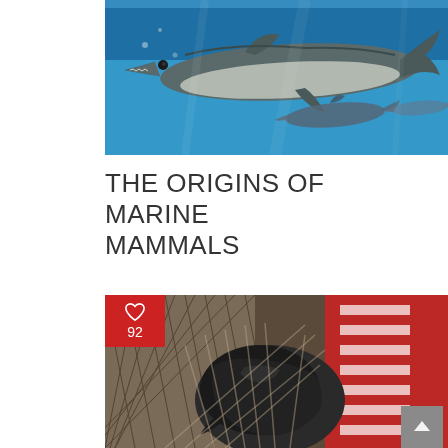[Figure (photo): Illustration of prehistoric marine reptiles (mosasaurs or plesiosaurs) swimming underwater in blue ocean, with smaller dolphin-like creatures in background]
THE ORIGINS OF MARINE MAMMALS
[Figure (photo): Close-up photo of a marine animal (possibly a seal or sea lion) caught or resting in a fishing net, with red structure visible in background. Heart icon and count of 92 overlaid in red badge top-left corner.]